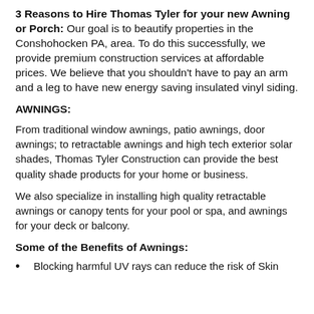3 Reasons to Hire Thomas Tyler for your new Awning or Porch: Our goal is to beautify properties in the Conshohocken PA, area. To do this successfully, we provide premium construction services at affordable prices. We believe that you shouldn't have to pay an arm and a leg to have new energy saving insulated vinyl siding.
AWNINGS:
From traditional window awnings, patio awnings, door awnings; to retractable awnings and high tech exterior solar shades, Thomas Tyler Construction can provide the best quality shade products for your home or business.
We also specialize in installing high quality retractable awnings or canopy tents for your pool or spa, and awnings for your deck or balcony.
Some of the Benefits of Awnings:
Blocking harmful UV rays can reduce the risk of Skin